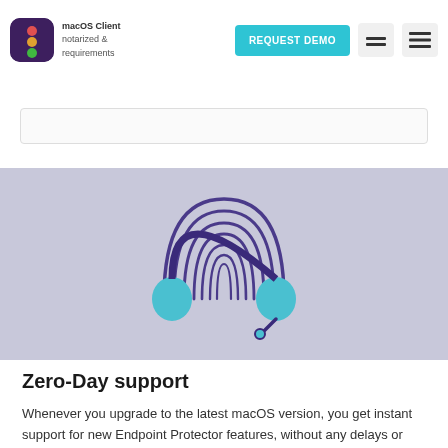macOS Client — REQUEST DEMO — notarized — requirements
[Figure (illustration): Fingerprint icon combined with headphones illustration on a light purple/lavender background, representing Zero-Day support]
Zero-Day support
Whenever you upgrade to the latest macOS version, you get instant support for new Endpoint Protector features, without any delays or impact on critical workflows.